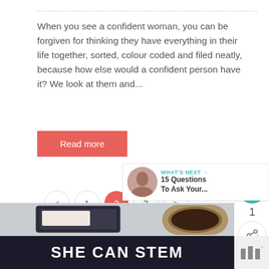When you see a confident woman, you can be forgiven for thinking they have everything in their life together, sorted, colour coded and filed neatly, because how else would a confident person have it? We look at them and...
Read more
< 1 2 3 >
[Figure (infographic): Heart/like icon in teal circle with count 1, and share icon in white circle]
[Figure (infographic): What's next banner with couple photo thumbnail and text '15 Questions To Ask Your...']
[Figure (photo): Bottom area showing tablet and coffee cup on wooden surface, with dark overlay showing SHE CAN STEM text]
SHE CAN STEM